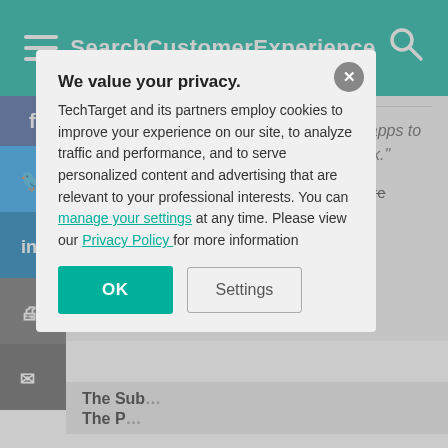SearchCustomerExperience
Read part one of this article, "AI chatbot apps to infiltrate businesses sooner than you think."
Artificial intelligence-based sales chatbots are positioned to replace jobs once thought responsible for human workers — much like word processors disrupted typists. Workers need to upskill to survive the coming upheaval.
The Sub...
The P...
[Figure (screenshot): Privacy consent modal overlay on SearchCustomerExperience website. Modal contains: title 'We value your privacy.', body text about TechTarget cookies policy, links to 'manage your settings' and 'Privacy Policy', OK button (teal) and Settings button (grey).]